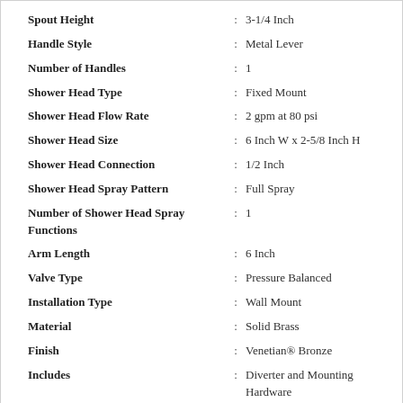| Attribute |  | Value |
| --- | --- | --- |
| Spout Height | : | 3-1/4 Inch |
| Handle Style | : | Metal Lever |
| Number of Handles | : | 1 |
| Shower Head Type | : | Fixed Mount |
| Shower Head Flow Rate | : | 2 gpm at 80 psi |
| Shower Head Size | : | 6 Inch W x 2-5/8 Inch H |
| Shower Head Connection | : | 1/2 Inch |
| Shower Head Spray Pattern | : | Full Spray |
| Number of Shower Head Spray Functions | : | 1 |
| Arm Length | : | 6 Inch |
| Valve Type | : | Pressure Balanced |
| Installation Type | : | Wall Mount |
| Material | : | Solid Brass |
| Finish | : | Venetian® Bronze |
| Includes | : | Diverter and Mounting Hardware |
| Warranty | : | Lifetime Limited |
FEATURES
Design inspired by the fragile scallops of a sea shell
Graceful curves provide a delicate beauty that adds a romantic touch to the bath
H2Okinetic technology sculpts the water into a unique wave pattern, giving the feeling of more water without using more water
WaterSense certification promotes water conservation